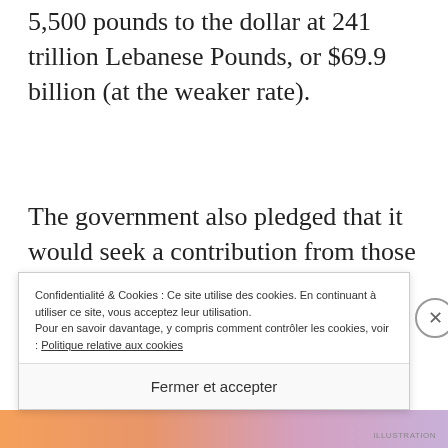5,500 pounds to the dollar at 241 trillion Lebanese Pounds, or $69.9 billion (at the weaker rate).
The government also pledged that it would seek a contribution from those who had benefited from extremely high interest rates and from f... C...
Confidentialité & Cookies : Ce site utilise des cookies. En continuant à utiliser ce site, vous acceptez leur utilisation. Pour en savoir davantage, y compris comment contrôler les cookies, voir : Politique relative aux cookies
Fermer et accepter